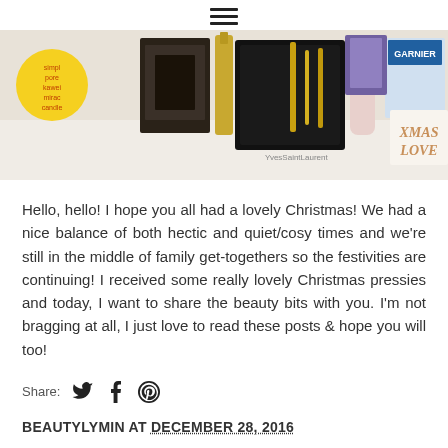[Figure (photo): Flatlay photo of various beauty/cosmetic products including Garnier, YSL, Estee Lauder and other brands with a gift tag reading XMAS LOVE]
Hello, hello! I hope you all had a lovely Christmas! We had a nice balance of both hectic and quiet/cosy times and we're still in the middle of family get-togethers so the festivities are continuing! I received some really lovely Christmas pressies and today, I want to share the beauty bits with you. I'm not bragging at all, I just love to read these posts & hope you will too!
Share:
BEAUTYLYMIN AT DECEMBER 28, 2016